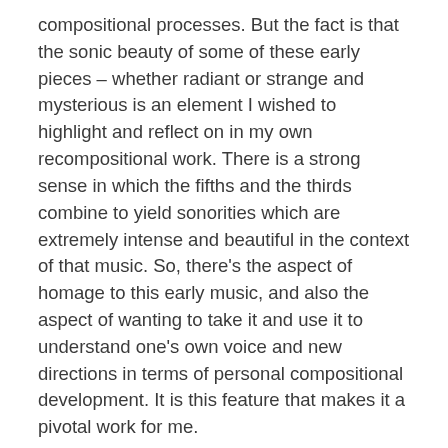compositional processes. But the fact is that the sonic beauty of some of these early pieces – whether radiant or strange and mysterious is an element I wished to highlight and reflect on in my own recompositional work. There is a strong sense in which the fifths and the thirds combine to yield sonorities which are extremely intense and beautiful in the context of that music. So, there's the aspect of homage to this early music, and also the aspect of wanting to take it and use it to understand one's own voice and new directions in terms of personal compositional development. It is this feature that makes it a pivotal work for me.
EF: You used quite a strong word just now – appropriation in terms of rethinking existing music.
EH: Yes, that may not be the right word but recomposition does involve taking something out of its context and placing it in a new one. In addition there is